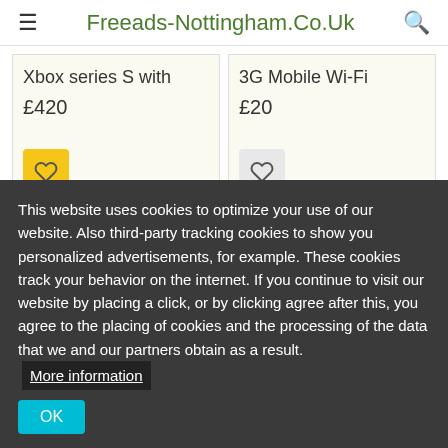Freeads-Nottingham.Co.Uk
Xbox series S with
£420
3G Mobile Wi-Fi
£20
This website uses cookies to optimize your use of our website. Also third-party tracking cookies to show you personalized advertisements, for example. These cookies track your behavior on the internet. If you continue to visit our website by placing a click, or by clicking agree after this, you agree to the placing of cookies and the processing of the data that we and our partners obtain as a result. More information